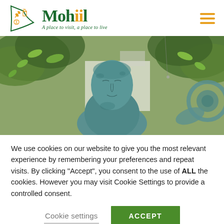[Figure (logo): Mohill town logo with green harp/flag containing gold icons (music note, wheat, building, GAA ball), green serif text 'Mohill' with gold dot accents, italic green tagline 'A place to visit, a place to live', and gold hamburger menu icon on the right]
[Figure (photo): Outdoor photo of a teal/verdigris bronze statue of a woman's face and figure, surrounded by green tree foliage with a white building in the background and another bronze sculpture element on the right]
We use cookies on our website to give you the most relevant experience by remembering your preferences and repeat visits.  By clicking "Accept", you consent to the use of ALL the cookies.  However you may visit Cookie Settings to provide a controlled consent.
Cookie settings
ACCEPT